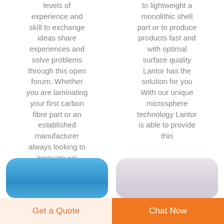levels of experience and skill to exchange ideas share experiences and solve problems through this open forum. Whether you are laminating your first carbon fibre part or an established manufacturer always looking to innovate we
to lightweight a monolithic shell part or to produce products fast and with optimal surface quality Lantor has the solution for you With our unique microsphere technology Lantor is able to provide thin
[Figure (illustration): Two rounded rectangle shapes side by side: left one is blue gradient, right one is gray/purple gradient, both partially visible at the bottom of the page above the button bar.]
Get a Quote
Chat Now